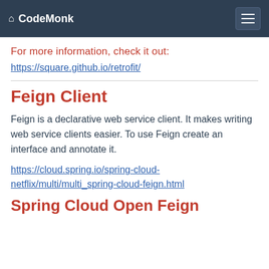CodeMonk
For more information, check it out:
https://square.github.io/retrofit/
Feign Client
Feign is a declarative web service client. It makes writing web service clients easier. To use Feign create an interface and annotate it.
https://cloud.spring.io/spring-cloud-netflix/multi/multi_spring-cloud-feign.html
Spring Cloud Open Feign